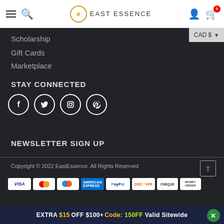East Essence navigation bar with logo, search, user and cart icons
Scholarship
Gift Cards
Marketplace
STAY CONNECTED
[Figure (infographic): Social media icons: Facebook, Twitter, Instagram, Pinterest in white circles on dark background]
NEWSLETTER SIGN UP
Copyright © 2022 EastEssence. All Rights Reserved
[Figure (infographic): Payment method icons: Visa, MasterCard, Maestro, American Express, PayPal, Discover, Cheque, Money Order]
EXTRA $15 OFF $100+ Code: 150FF Valid Sitewide